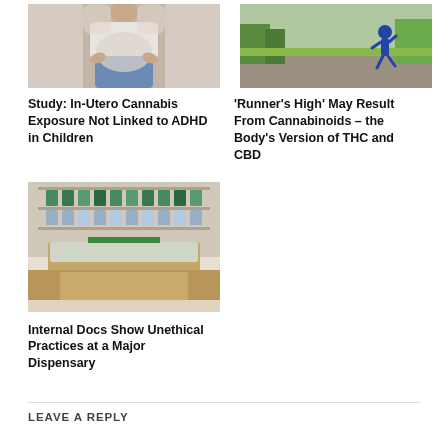[Figure (photo): Close-up of a pregnant woman holding her belly, wearing a white top and jeans]
Study: In-Utero Cannabis Exposure Not Linked to ADHD in Children
[Figure (photo): Person running on a road surrounded by green trees and nature]
'Runner's High' May Result From Cannabinoids – the Body's Version of THC and CBD
[Figure (photo): Interior of a cannabis dispensary with display cases and products]
Internal Docs Show Unethical Practices at a Major Dispensary
LEAVE A REPLY